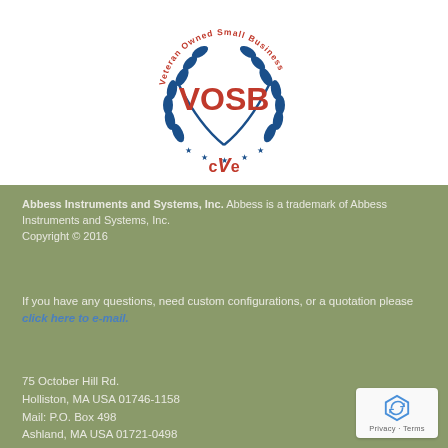[Figure (logo): VOSB (Veteran Owned Small Business) CVE certification logo with blue laurel wreath and red text]
Abbess Instruments and Systems, Inc. Abbess is a trademark of Abbess Instruments and Systems, Inc. Copyright © 2016
If you have any questions, need custom configurations, or a quotation please click here to e-mail.
75 October Hill Rd.
Holliston, MA USA 01746-1158
Mail: P.O. Box 498
Ashland, MA USA 01721-0498